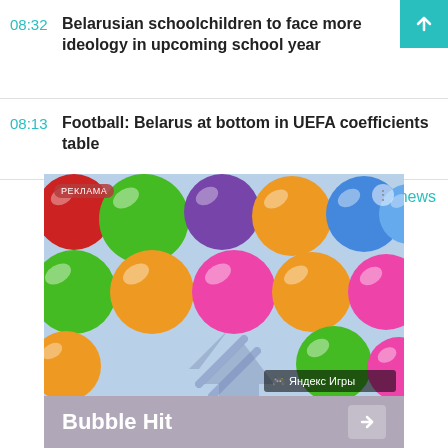08:32 Belarusian schoolchildren to face more ideology in upcoming school year
08:13 Football: Belarus at bottom in UEFA coefficients table
more news
[Figure (screenshot): Advertisement image showing colorful bubble/ball game called Bubble Hit by Яндекс Игры (Yandex Games). The image shows multiple glossy colored spheres/bubbles in red, green, purple, orange, pink, blue arranged in rows on a light blue background. A РЕКЛАМА (advertisement) label appears top-left. Bottom bar shows 'Bubble Hit' text with arrow.]